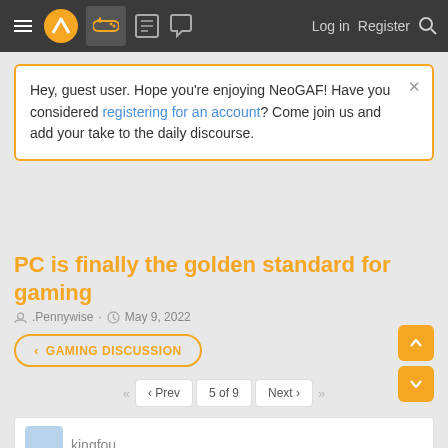NeoGAF navigation bar with hamburger menu, logo, gaming icon (active), forum icons, Log in, Register, Search
Hey, guest user. Hope you're enjoying NeoGAF! Have you considered registering for an account? Come join us and add your take to the daily discourse.
PC is finally the golden standard for gaming
.Pennywise · May 9, 2022
< GAMING DISCUSSION
◄◄   ◄ Prev   5 of 9   Next ►   ►►
kingfou